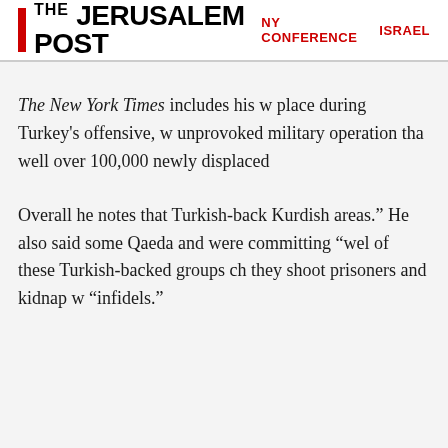THE JERUSALEM POST | NY CONFERENCE | ISRAEL
The New York Times includes his w... place during Turkey's offensive, w... unprovoked military operation tha... well over 100,000 newly displaced...
Overall he notes that Turkish-back... Kurdish areas." He also said some... Qaeda and were committing "wel... of these Turkish-backed groups ch... they shoot prisoners and kidnap w... "infidels."